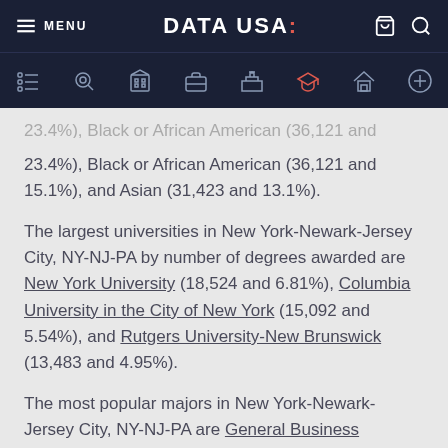MENU | DATA USA: | (cart) (search)
23.4%), Black or African American (36,121 and 15.1%), and Asian (31,423 and 13.1%).
The largest universities in New York-Newark-Jersey City, NY-NJ-PA by number of degrees awarded are New York University (18,524 and 6.81%), Columbia University in the City of New York (15,092 and 5.54%), and Rutgers University-New Brunswick (13,483 and 4.95%).
The most popular majors in New York-Newark-Jersey City, NY-NJ-PA are General Business Administration & Management (15,466 and 5.68%), Liberal Arts & Sciences (13,280 and 4.88%), and Registered Nursing (10,221 and 3.76%).